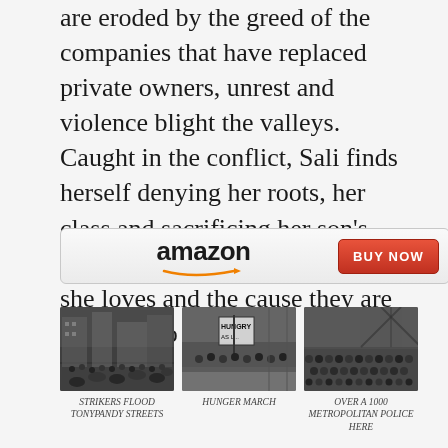are eroded by the greed of the companies that have replaced private owners, unrest and violence blight the valleys. Caught in the conflict, Sali finds herself denying her roots, her class and sacrificing her son's future for the sake of the people she loves and the cause they are prepared to die for.
[Figure (screenshot): Amazon 'BUY NOW' button widget with Amazon logo on left and red 'BUY NOW' button on right]
[Figure (photo): Black and white historical photo of strikers flooding Tonypandy streets — large crowd in urban setting]
STRIKERS FLOOD TONYPANDY STREETS
[Figure (photo): Black and white historical photo of a Hunger March — people marching with a sign reading 'HUNGRY AS L...']
HUNGER MARCH
[Figure (photo): Black and white historical photo of over a 1000 Metropolitan Police — rows of uniformed officers posed]
OVER A 1000 METROPOLITAN POLICE HERE